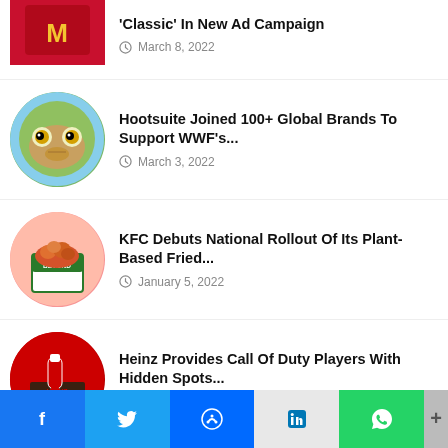[Figure (photo): McDonald's logo circular thumbnail]
'Classic' In New Ad Campaign
March 8, 2022
[Figure (photo): Hootsuite owl circular thumbnail]
Hootsuite Joined 100+ Global Brands To Support WWF's...
March 3, 2022
[Figure (photo): KFC Beyond Fried Chicken circular thumbnail]
KFC Debuts National Rollout Of Its Plant-Based Fried...
January 5, 2022
[Figure (photo): Heinz Hidden campaign circular thumbnail]
Heinz Provides Call Of Duty Players With Hidden Spots...
January 2, 2022